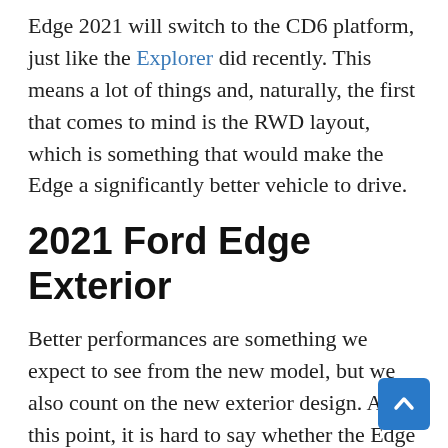Edge 2021 will switch to the CD6 platform, just like the Explorer did recently. This means a lot of things and, naturally, the first that comes to mind is the RWD layout, which is something that would make the Edge a significantly better vehicle to drive.
2021 Ford Edge Exterior
Better performances are something we expect to see from the new model, but we also count on the new exterior design. At this point, it is hard to say whether the Edge is about to get bigger or not. The current model is good for about 112.2 in in wheelbase, which seems okay for a mid-size